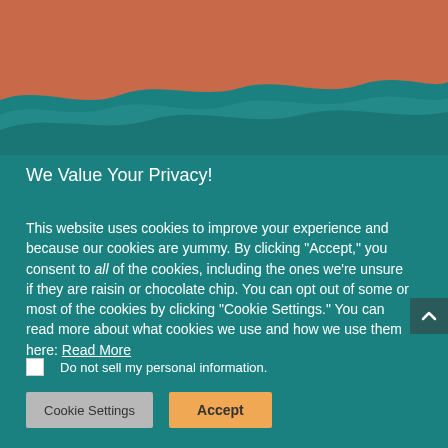[Figure (illustration): Decorative landscape illustration with orange/terracotta sky and wavy teal hills at the top of the page]
We Value Your Privacy!
This website uses cookies to improve your experience and because our cookies are yummy. By clicking "Accept," you consent to all of the cookies, including the ones we're unsure if they are raisin or chocolate chip. You can opt out of some or most of the cookies by clicking "Cookie Settings." You can read more about what cookies we use and how we use them here: Read More
Do not sell my personal information.
Cookie Settings  Accept